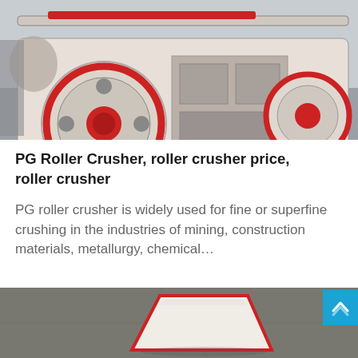[Figure (photo): Industrial PG roller crusher machine on a blue base/cart, viewed from the front. Shows large red-rimmed circular gear/flywheel on the left, mechanical components in the center, and another wheel on the right. Machine appears worn/dusty in an industrial setting.]
PG Roller Crusher, roller crusher price, roller crusher
PG roller crusher is widely used for fine or superfine crushing in the industries of mining, construction materials, metallurgy, chemical...
[Figure (photo): Partial view of a white and red tray/container on a gray surface, photographed from above.]